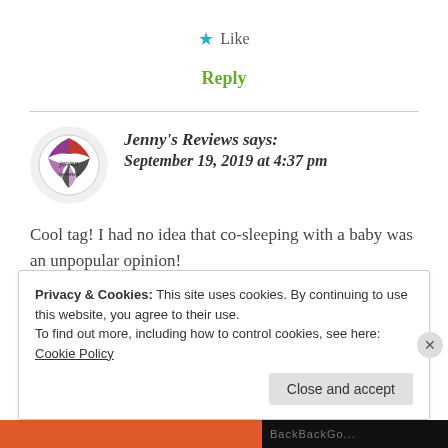★ Like
Reply
Jenny's Reviews says: September 19, 2019 at 4:37 pm
Cool tag! I had no idea that co-sleeping with a baby was an unpopular opinion!
Privacy & Cookies: This site uses cookies. By continuing to use this website, you agree to their use.
To find out more, including how to control cookies, see here: Cookie Policy
Close and accept